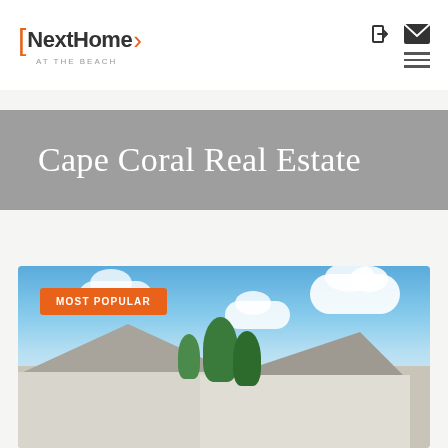[Figure (logo): NextHome At The Beach logo with orange brackets and arrow]
Cape Coral Real Estate
[Figure (photo): Exterior photo of a house under blue sky with clouds, with 'MOST POPULAR' orange badge overlay]